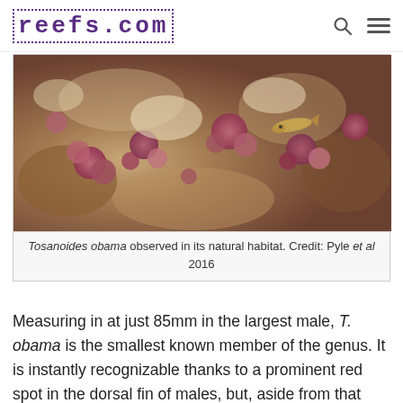reefs.com
[Figure (photo): Underwater photo of Tosanoides obama observed in its natural habitat, showing the fish among pink and reddish coral and rock formations.]
Tosanoides obama observed in its natural habitat. Credit: Pyle et al 2016
Measuring in at just 85mm in the largest male, T. obama is the smallest known member of the genus. It is instantly recognizable thanks to a prominent red spot in the dorsal fin of males, but, aside from that marking, this is a fairly mundane species as far as deepwater anthias go, mostly lacking in the chromatic panache which makes its closest relative, T. flavofasciatus, such a holy grail among rare fish collectors. Genetically, this fish was quite distinct,